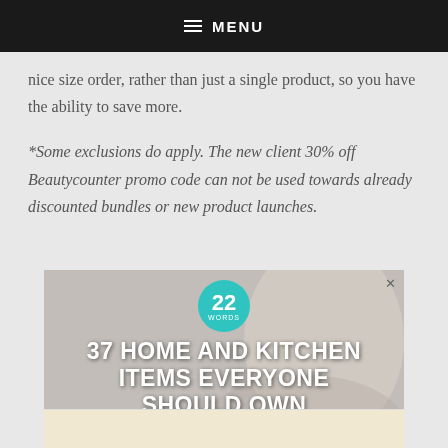≡ MENU
advantages of these savings is placing it towards a nice size order, rather than just a single product, so you have the ability to save more.
*Some exclusions do apply. The new client 30% off Beautycounter promo code can not be used towards already discounted bundles or new product launches.
[Figure (advertisement): Advertisement banner with teal '22 WORDS' badge and text '37 HOME AND KITCHEN ITEMS EVERYONE SHOULD OWN' overlaid on a photo of a person using kitchen items.]